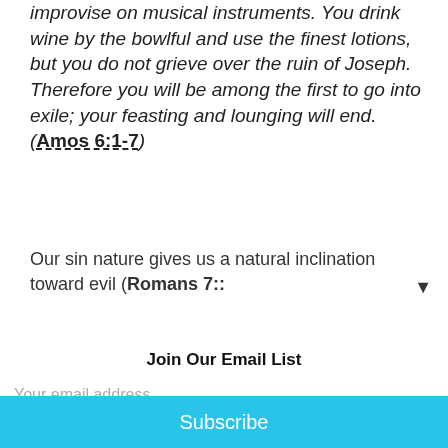improvise on musical instruments. You drink wine by the bowlful and use the finest lotions, but you do not grieve over the ruin of Joseph. Therefore you will be among the first to go into exile; your feasting and lounging will end. (Amos 6:1-7)
Our sin nature gives us a natural inclination toward evil (Romans 7:: ▼
Join Our Email List
Your email address
Subscribe